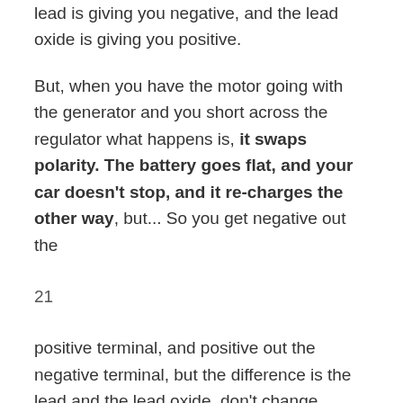lead is giving you negative, and the lead oxide is giving you positive.
But, when you have the motor going with the generator and you short across the regulator what happens is, it swaps polarity. The battery goes flat, and your car doesn't stop, and it re-charges the other way, but... So you get negative out the
21
positive terminal, and positive out the negative terminal, but the difference is the lead and the lead oxide, don't change places. The action is opposite.
Lead, doesn't become oxide. Where if you flatten the